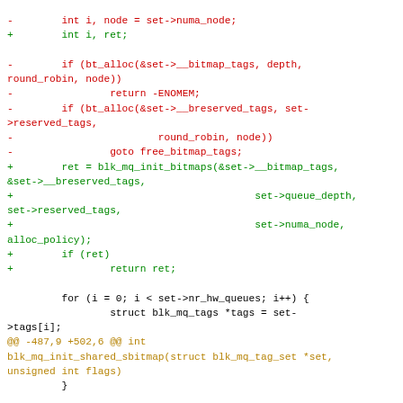[Figure (other): Code diff showing changes to blk_mq tag set initialization functions in a Linux kernel patch, with red lines (removed) and green lines (added) and gold hunk headers]